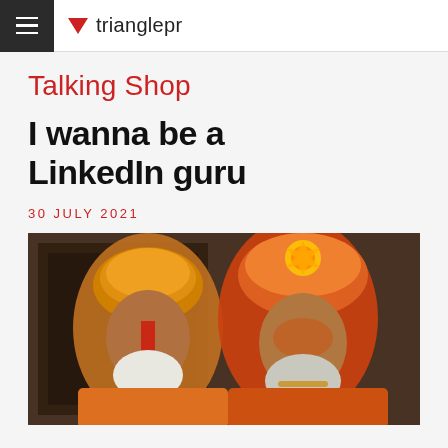trianglepr
Talking Shop
I wanna be a LinkedIn guru
30 JULY 2021
[Figure (photo): Two elderly men in traditional Indian attire with colorful turbans and face paint, wearing orange robes, standing in front of a dark latticed background.]